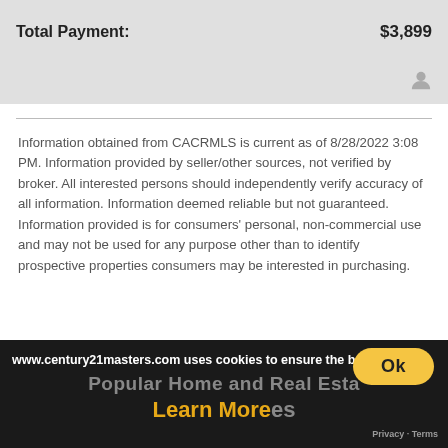| Total Payment: | $3,899 |
| --- | --- |
Information obtained from CACRMLS is current as of 8/28/2022 3:08 PM. Information provided by seller/other sources, not verified by broker. All interested persons should independently verify accuracy of all information. Information deemed reliable but not guaranteed. Information provided is for consumers' personal, non-commercial use and may not be used for any purpose other than to identify prospective properties consumers may be interested in purchasing.
Popular Home and Real Estate Searches
www.century21masters.com uses cookies to ensure the best
Learn More
Ok
Privacy · Terms